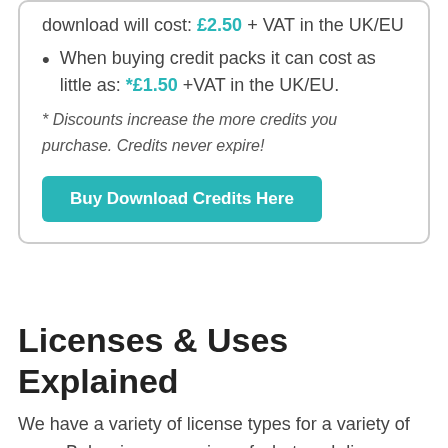download will cost: £2.50 + VAT in the UK/EU
When buying credit packs it can cost as little as: *£1.50 +VAT in the UK/EU.
* Discounts increase the more credits you purchase. Credits never expire!
Buy Download Credits Here
Licenses & Uses Explained
We have a variety of license types for a variety of uses. Below is an overview of what each license type covers, what is allowed and what is not allowed. Click on the